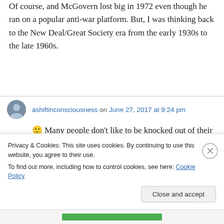Of course, and McGovern lost big in 1972 even though he ran on a popular anti-war platform. But, I was thinking back to the New Deal/Great Society era from the early 1930s to the late 1960s.
ashiftinconsciousness on June 27, 2017 at 9:24 pm
🙂 Many people don't like to be knocked out of their comfort zone, often which exists inside a crypt of ignorance.
Privacy & Cookies: This site uses cookies. By continuing to use this website, you agree to their use.
To find out more, including how to control cookies, see here: Cookie Policy